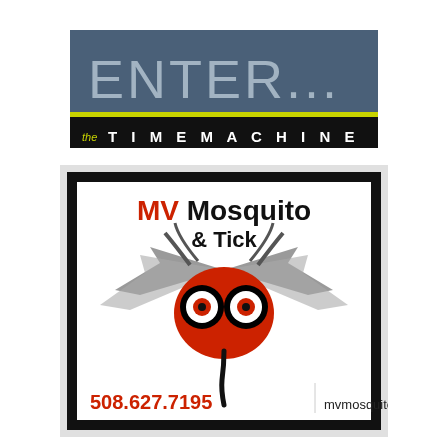[Figure (logo): ENTER... the TIME MACHINE banner logo. Top section has dark blue-gray background with large light gray thin-font text 'ENTER...' and a yellow-green horizontal stripe at the bottom. Bottom section is black with white text reading 'the TIME MACHINE' where 'the' is small italic yellow-green and 'TIME MACHINE' is large spaced white capitals.]
[Figure (logo): MV Mosquito & Tick advertisement. White background with thick black border. Text: 'MV Mosquito & Tick' where 'MV' is in red and 'Mosquito & Tick' is in black bold. Stylized mosquito face logo in center with grey wings, black googly eyes with red pupils, and red body. Below: phone number '508.627.7195' in red bold and 'mvmosquito.com' in black.]